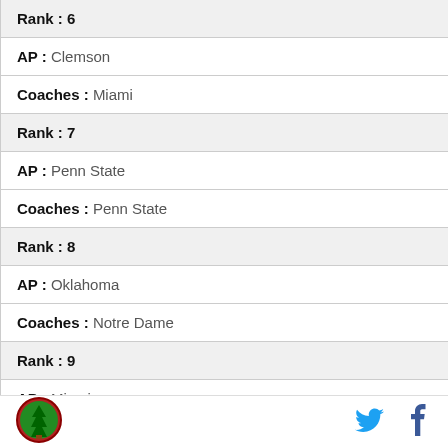Rank : 6
AP : Clemson
Coaches : Miami
Rank : 7
AP : Penn State
Coaches : Penn State
Rank : 8
AP : Oklahoma
Coaches : Notre Dame
Rank : 9
AP : Miami
[Figure (logo): Round logo with tree/nature imagery and red border]
[Figure (logo): Twitter bird icon in blue]
[Figure (logo): Facebook f icon in blue]